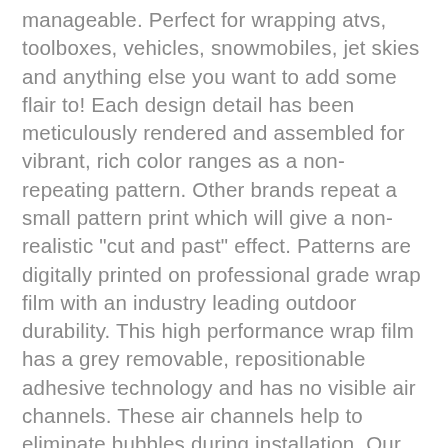manageable. Perfect for wrapping atvs, toolboxes, vehicles, snowmobiles, jet skies and anything else you want to add some flair to! Each design detail has been meticulously rendered and assembled for vibrant, rich color ranges as a non-repeating pattern. Other brands repeat a small pattern print which will give a non-realistic "cut and past" effect. Patterns are digitally printed on professional grade wrap film with an industry leading outdoor durability. This high performance wrap film has a grey removable, repositionable adhesive technology and has no visible air channels. These air channels help to eliminate bubbles during installation. Our Graphics are digitally printed at 1080dpi for the highest resolution possible, brightest colors and an Ultra HD look. We also print with eco-solvent inks; this is the best ink on the market! These graphics are easy to apply and easy to remove, just peel of the backing and apply! Orders are shipped by Priority Mail within 24 hours so you get your wrap QUICK!